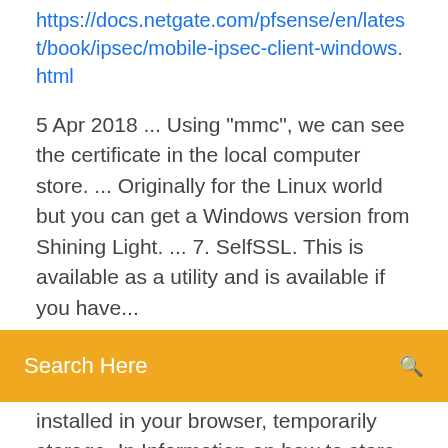https://docs.netgate.com/pfsense/en/latest/book/ipsec/mobile-ipsec-client-windows.html
5 Apr 2018 ... Using "mmc", we can see the certificate in the local computer store. ... Originally for the Linux world but you can get a Windows version from Shining Light. ... 7. SelfSSL. This is available as a utility and is available if you have...
Search Here
installed in your browser, temporarily storage. In Information on how to store your Digital Certificates: 1. ... Windows 7, Vista or XP:. win-ca - npm 26 Jun 2019 ... Windows has a whole lot of Certificate stores (eg Root , CA , My ... Default value depends on Node.js version (4, 5 and 7 {fallback: true} ...
Télécharger Windows Store Applications Manager - 01net.com
Installing certificates in Windows 7 is not difficult, here's how. Certificates are used for secure information (such as